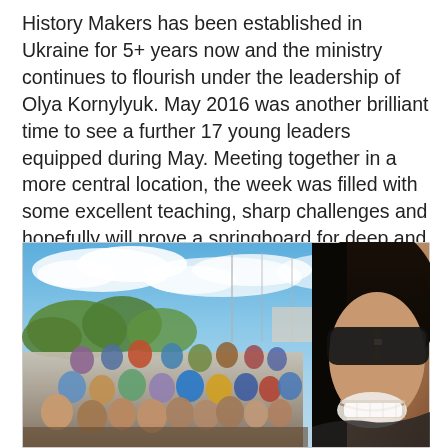History Makers has been established in Ukraine for 5+ years now and the ministry continues to flourish under the leadership of Olya Kornylyuk. May 2016 was another brilliant time to see a further 17 young leaders equipped during May. Meeting together in a more central location, the week was filled with some excellent teaching, sharp challenges and hopefully will prove a springboard for deep and rich ministry in the days ahead!
[Figure (photo): A group selfie photo of approximately 30 young leaders gathered outdoors under a blue sky with clouds. Trees and buildings visible in background. A woman with dark hair and sunglasses is prominently visible in the right foreground taking the selfie.]